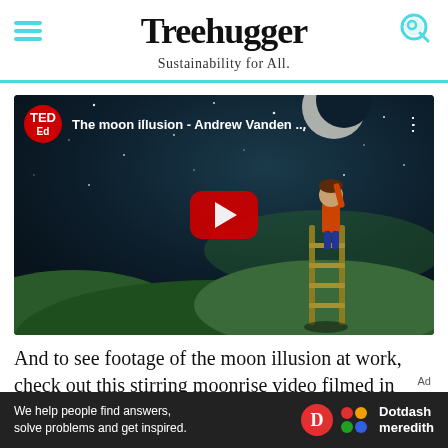Treehugger — Sustainability for All.
[Figure (screenshot): YouTube video thumbnail showing TED-Ed video titled 'The moon illusion - Andrew Vanden ...' with a play button overlay. Scene shows an animated character on a ladder reaching up to the moon against a starry night sky.]
And to see footage of the moon illusion at work, check out this stirring moonrise video filmed in January 2013
[Figure (infographic): Ad banner: 'We help people find answers, solve problems and get inspired.' with Dotdash Meredith logo]